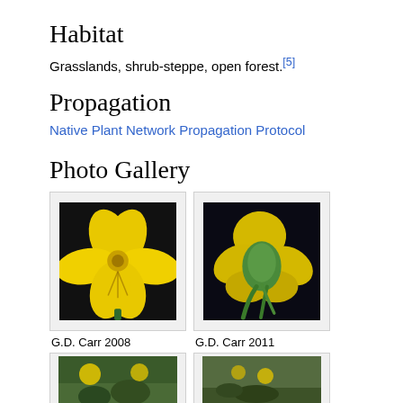Habitat
Grasslands, shrub-steppe, open forest.[5]
Propagation
Native Plant Network Propagation Protocol
Photo Gallery
[Figure (photo): Yellow flower close-up, front view, dark background. Credit: G.D. Carr 2008]
G.D. Carr 2008
[Figure (photo): Yellow flower close-up, back/side view showing green stem and underside, dark background. Credit: G.D. Carr 2011]
G.D. Carr 2011
[Figure (photo): Plant in habitat, partially visible at bottom of page.]
[Figure (photo): Plant in habitat, partially visible at bottom of page.]